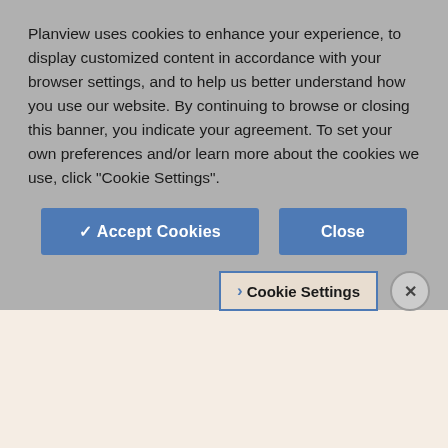Planview uses cookies to enhance your experience, to display customized content in accordance with your browser settings, and to help us better understand how you use our website. By continuing to browse or closing this banner, you indicate your agreement. To set your own preferences and/or learn more about the cookies we use, click "Cookie Settings".
[Figure (screenshot): Cookie consent banner with Accept Cookies and Close buttons, and a Cookie Settings link with close X button]
following updates:
The card creator confirmation that been received, a request more in replying to the e
Projectplace use to external card when commenting their comment w